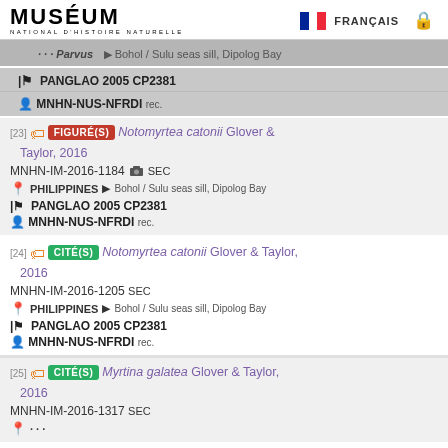MUSÉUM NATIONAL D'HISTOIRE NATURELLE | FRANÇAIS
[23] FIGURÉ(S) Notomyrtea catonii Glover & Taylor, 2016 | MNHN-IM-2016-1184 SEC | PHILIPPINES > Bohol / Sulu seas sill, Dipolog Bay | PANGLAO 2005 CP2381 | MNHN-NUS-NFRDI rec.
[24] CITÉ(S) Notomyrtea catonii Glover & Taylor, 2016 | MNHN-IM-2016-1205 SEC | PHILIPPINES > Bohol / Sulu seas sill, Dipolog Bay | PANGLAO 2005 CP2381 | MNHN-NUS-NFRDI rec.
[25] CITÉ(S) Myrtina galatea Glover & Taylor, 2016 | MNHN-IM-2016-1317 SEC